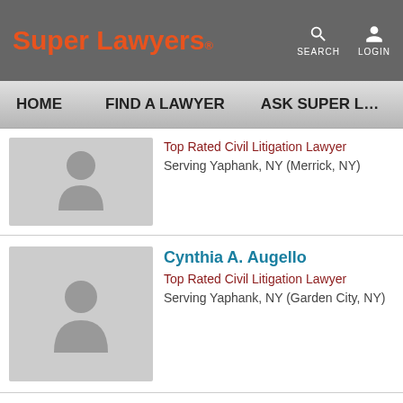Super Lawyers — SEARCH LOGIN
HOME   FIND A LAWYER   ASK SUPER L…
Top Rated Civil Litigation Lawyer
Serving Yaphank, NY (Merrick, NY)
Cynthia A. Augello
Top Rated Civil Litigation Lawyer
Serving Yaphank, NY (Garden City, NY)
Sam Baharvar
Top Rated Civil Litigation Lawyer
Serving Yaphank, NY (Central Islip, NY)